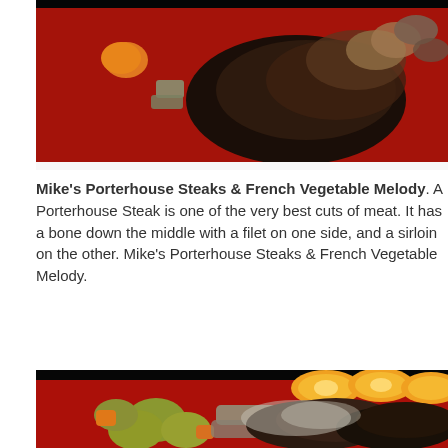[Figure (photo): Top portion of a food photo showing a red plate with porterhouse steak, mushrooms, carrots, and celery pieces against a dark background]
Mike's Porterhouse Steaks & French Vegetable Melody. A Porterhouse Steak is one of the very best cuts of meat. It has a bone down the middle with a filet on one side, and a sirloin on the other. Mike's Porterhouse Steaks & French Vegetable Melody.
[Figure (photo): Bottom food photo showing a red plate with porterhouse steak topped with sautéed mushrooms and onions, alongside roasted vegetables (potatoes, carrots, celery) and sliced oranges arranged on top]